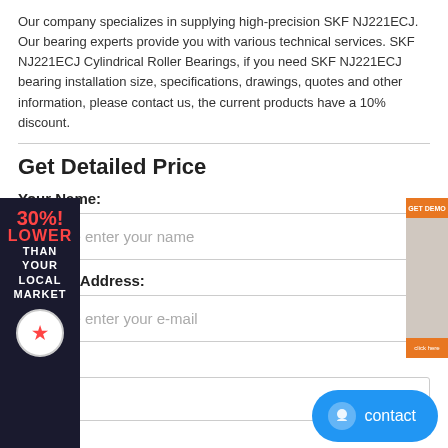Our company specializes in supplying high-precision SKF NJ221ECJ. Our bearing experts provide you with various technical services. SKF NJ221ECJ Cylindrical Roller Bearings, if you need SKF NJ221ECJ bearing installation size, specifications, drawings, quotes and other information, please contact us, the current products have a 10% discount.
Get Detailed Price
Your Name:
Please enter your name
* E-Mail Address:
Please enter your e-mail
Country: